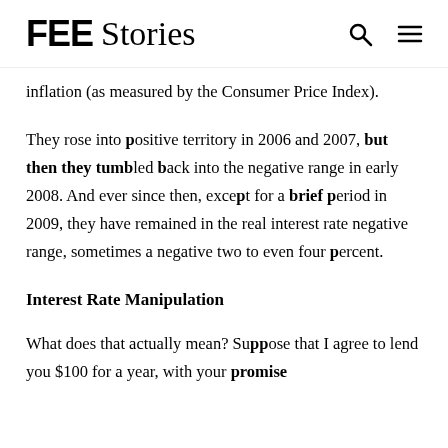FEE Stories
inflation (as measured by the Consumer Price Index).
They rose into positive territory in 2006 and 2007, but then they tumbled back into the negative range in early 2008. And ever since then, except for a brief period in 2009, they have remained in the real interest rate negative range, sometimes a negative two to even four percent.
Interest Rate Manipulation
What does that actually mean? Suppose that I agree to lend you $100 for a year, with your promise